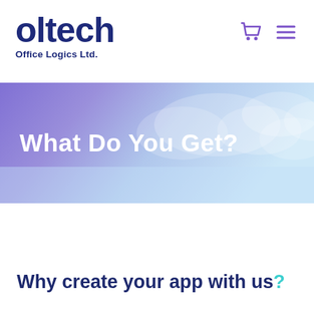[Figure (logo): Oltech Office Logics Ltd. logo — bold dark blue text reading 'oltech' with tagline 'Office Logics Ltd.' below]
[Figure (illustration): Navigation icons: purple shopping cart icon and purple hamburger menu icon in top right corner]
[Figure (illustration): Banner with purple-to-light-blue gradient background featuring white cloud shapes and white bold text 'What Do You Get?']
Why create your app with us?